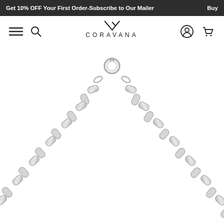Get 10% OFF Your First Order-Subscribe to Our Mailer   Buy
[Figure (logo): Coravana brand logo with stylized V/lightning bolt mark above the text CORAVANA]
[Figure (photo): Silver curb chain necklace clasp at top, two strands of chunky silver curb chain links hanging down forming an arc shape on white background]